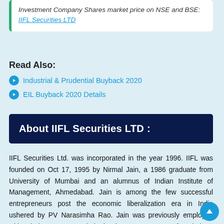Investment Company Shares market price on NSE and BSE: IIFL Securities LTD
Read Also:
Industrial & Prudential Buyback 2020
EIL Buyback 2020 Details
About IIFL Securities LTD :
IIFL Securities Ltd. was incorporated in the year 1996. IIFL was founded on Oct 17, 1995 by Nirmal Jain, a 1986 graduate from University of Mumbai and an alumnus of Indian Institute of Management, Ahmedabad. Jain is among the few successful entrepreneurs post the economic liberalization era in India ushered by PV Narasimha Rao. Jain was previously employed with Hindustan Lever Limited. The company was founded as Probity Research